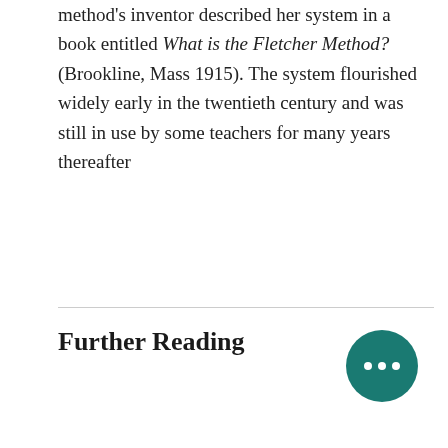method's inventor described her system in a book entitled What is the Fletcher Method? (Brookline, Mass 1915). The system flourished widely early in the twentieth century and was still in use by some teachers for many years thereafter
Further Reading